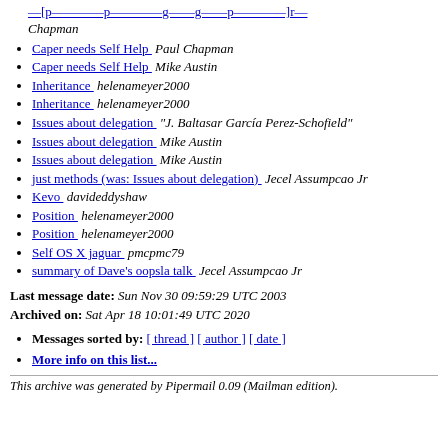Caper needs Self Help   Paul Chapman (partial top)
Caper needs Self Help   Paul Chapman
Caper needs Self Help   Mike Austin
Inheritance   helenameyer2000
Inheritance   helenameyer2000
Issues about delegation   "J. Baltasar García Perez-Schofield"
Issues about delegation   Mike Austin
Issues about delegation   Mike Austin
just methods (was: Issues about delegation)   Jecel Assumpcao Jr
Kevo   davideddyshaw
Position   helenameyer2000
Position   helenameyer2000
Self OS X jaguar   pmcpmc79
summary of Dave's oopsla talk   Jecel Assumpcao Jr
Last message date: Sun Nov 30 09:59:29 UTC 2003
Archived on: Sat Apr 18 10:01:49 UTC 2020
Messages sorted by: [ thread ] [ author ] [ date ]
More info on this list...
This archive was generated by Pipermail 0.09 (Mailman edition).